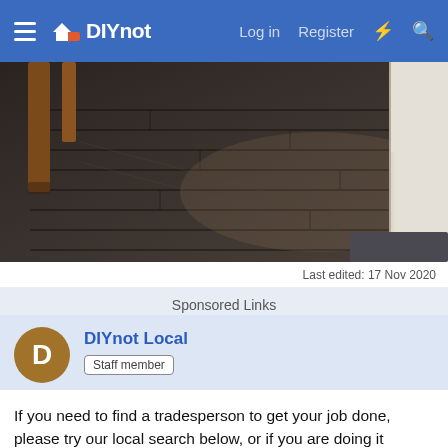DIYnot — Log in  Register
[Figure (photo): Dark hardwood/luxury vinyl plank flooring with wooden furniture leg on the left and white baseboard/trim on the right]
Last edited: 17 Nov 2020
Sponsored Links
DIYnot Local
Staff member
If you need to find a tradesperson to get your job done, please try our local search below, or if you are doing it yourself you can find suppliers local to you.
Select the supplier or trade you require, enter your location to